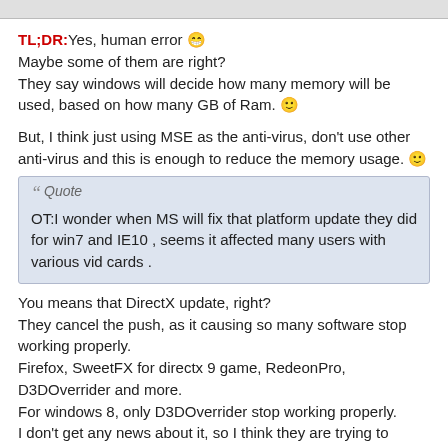TL;DR:Yes, human error 😁
Maybe some of them are right?
They say windows will decide how many memory will be used, based on how many GB of Ram. 🙂
But, I think just using MSE as the anti-virus, don't use other anti-virus and this is enough to reduce the memory usage. 🙂
Quote
OT:I wonder when MS will fix that platform update they did for win7 and IE10 , seems it affected many users with various vid cards .
You means that DirectX update, right?
They cancel the push, as it causing so many software stop working properly.
Firefox, SweetFX for directx 9 game, RedeonPro, D3DOverrider and more.
For windows 8, only D3DOverrider stop working properly.
I don't get any news about it, so I think they are trying to improve the compatibility(â†This word is so hard to remember 😕) before push it again?